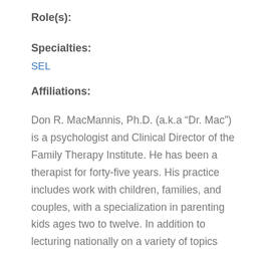Role(s):
Specialties:
SEL
Affiliations:
Don R. MacMannis, Ph.D. (a.k.a “Dr. Mac”) is a psychologist and Clinical Director of the Family Therapy Institute. He has been a therapist for forty-five years. His practice includes work with children, families, and couples, with a specialization in parenting kids ages two to twelve. In addition to lecturing nationally on a variety of topics